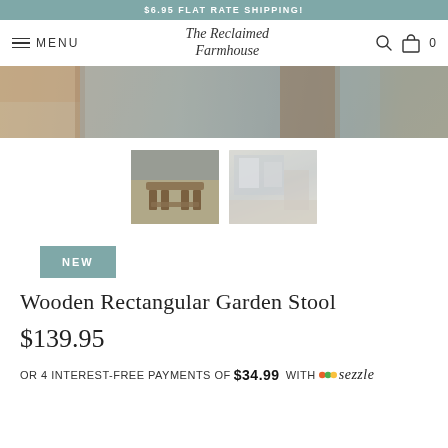$6.95 FLAT RATE SHIPPING!
The Reclaimed Farmhouse  MENU  0
[Figure (photo): Close-up product hero image showing wooden stool legs and woven gray textile texture]
[Figure (photo): Thumbnail photo of wooden rectangular garden stool in front of gray sofa]
[Figure (photo): Thumbnail photo of farmhouse style room interior with shelves and furniture]
NEW
Wooden Rectangular Garden Stool
$139.95
OR 4 INTEREST-FREE PAYMENTS OF $34.99 WITH sezzle